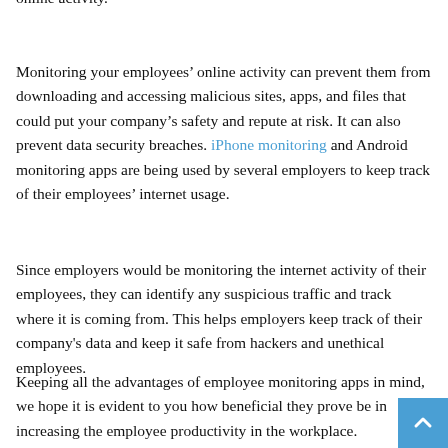online activity.
Monitoring your employees’ online activity can prevent them from downloading and accessing malicious sites, apps, and files that could put your company’s safety and repute at risk. It can also prevent data security breaches. iPhone monitoring and Android monitoring apps are being used by several employers to keep track of their employees’ internet usage.
Since employers would be monitoring the internet activity of their employees, they can identify any suspicious traffic and track where it is coming from. This helps employers keep track of their company's data and keep it safe from hackers and unethical employees.
Keeping all the advantages of employee monitoring apps in mind, we hope it is evident to you how beneficial they prove be in increasing the employee productivity in the workplace.